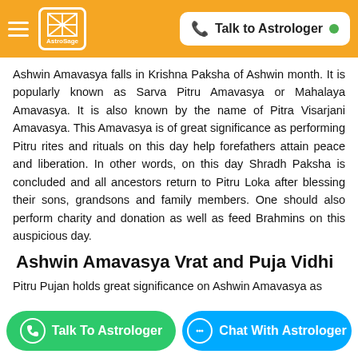AstroSage — Talk to Astrologer
Ashwin Amavasya falls in Krishna Paksha of Ashwin month. It is popularly known as Sarva Pitru Amavasya or Mahalaya Amavasya. It is also known by the name of Pitra Visarjani Amavasya. This Amavasya is of great significance as performing Pitru rites and rituals on this day help forefathers attain peace and liberation. In other words, on this day Shradh Paksha is concluded and all ancestors return to Pitru Loka after blessing their sons, grandsons and family members. One should also perform charity and donation as well as feed Brahmins on this auspicious day.
Ashwin Amavasya Vrat and Puja Vidhi
Pitru Pujan holds great significance on Ashwin Amavasya as
occasion are as follows: